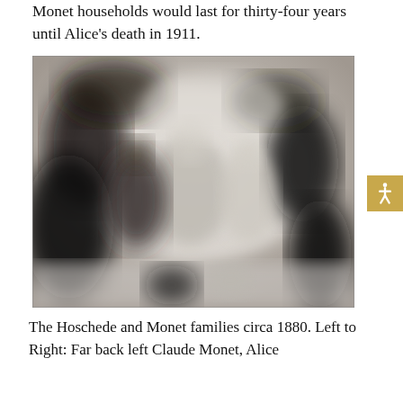Monet households would last for thirty-four years until Alice's death in 1911.
[Figure (photo): Blurry black-and-white photograph of the Hoschede and Monet families circa 1880, showing several figures in period dress.]
The Hoschede and Monet families circa 1880. Left to Right: Far back left Claude Monet, Alice